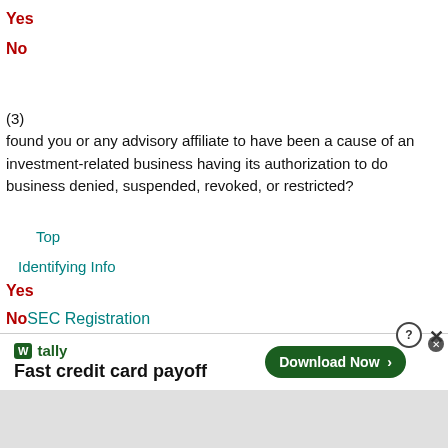Yes
No
(3)
found you or any advisory affiliate to have been a cause of an investment-related business having its authorization to do business denied, suspended, revoked, or restricted?
Top
Identifying Info
Yes
No
SEC Registration
Organization
(4)